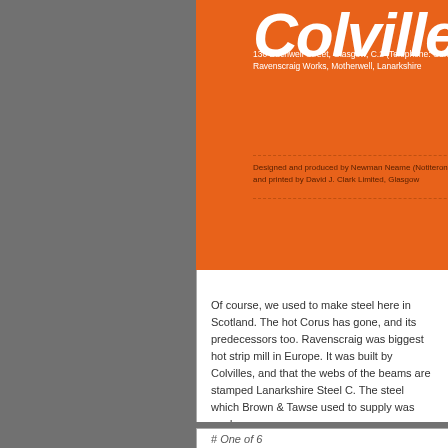[Figure (photo): Orange Colvilles Limited brochure cover with company name in large white italic text, address details, design credit, and dark photo with glowing orange light on right side]
Of course, we used to make steel here in Scotland. The hot Corus has gone, and its predecessors too. Ravenscraig was biggest hot strip mill in Europe. It was built by Colvilles, and that the webs of the beams are stamped Lanarkshire Steel C. The steel which Brown & Tawse used to supply was made a.
We used to make steel here in Scotland, but the Scottish ste for it. So most of it was destroyed by Thatcher's henchman I the mills at Clydebridge and Dalzell were sold off to the lowe the certificates resemble the entries in a Eurovision Steel Co
Scotland, null points.
By markc • Galleries: ghosts, specification